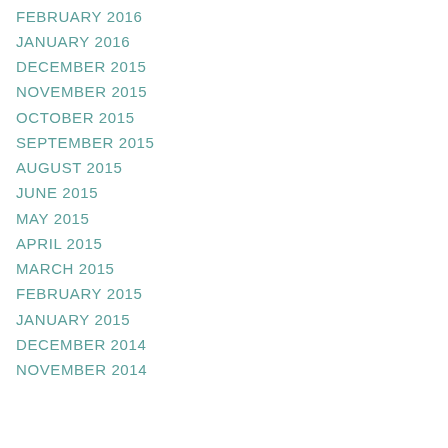FEBRUARY 2016
JANUARY 2016
DECEMBER 2015
NOVEMBER 2015
OCTOBER 2015
SEPTEMBER 2015
AUGUST 2015
JUNE 2015
MAY 2015
APRIL 2015
MARCH 2015
FEBRUARY 2015
JANUARY 2015
DECEMBER 2014
NOVEMBER 2014